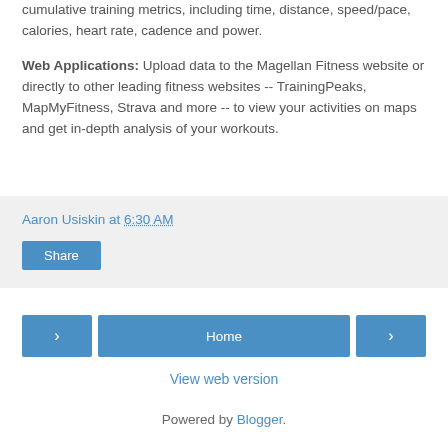cumulative training metrics, including time, distance, speed/pace, calories, heart rate, cadence and power.
Web Applications: Upload data to the Magellan Fitness website or directly to other leading fitness websites -- TrainingPeaks, MapMyFitness, Strava and more -- to view your activities on maps and get in-depth analysis of your workouts.
Aaron Usiskin at 6:30 AM
Share
[Figure (screenshot): Navigation buttons: left arrow button, Home button, right arrow button]
View web version
Powered by Blogger.